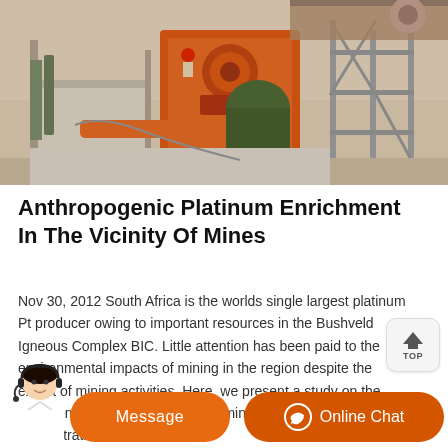[Figure (photo): Industrial mining site showing large orange machinery, conveyor structures, scaffolding, and workers in hard hats. Heavy equipment with pipes and cranes visible.]
Anthropogenic Platinum Enrichment In The Vicinity Of Mines
Nov 30, 2012 South Africa is the worlds single largest platinum Pt producer owing to important resources in the Bushveld Igneous Complex BIC. Little attention has been paid to the environmental impacts of mining in the region despite the extent of mining activities. Here, we present a study on the occurrence of Pt in the vicinity of mines in the BIC. Elevated concentrations were found …